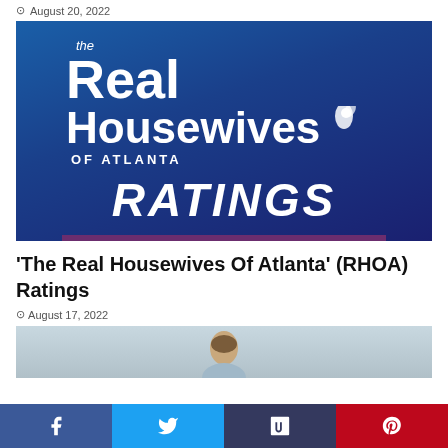August 20, 2022
[Figure (photo): The Real Housewives of Atlanta Ratings promotional image — blue background with RHOA logo, 'RATINGS' text, and purple banner reading 'THE REAL HOUSEWIVES OF ATLANTA']
'The Real Housewives Of Atlanta' (RHOA) Ratings
August 17, 2022
[Figure (photo): Partial photo of a person from the shoulders up, partially visible at the bottom of the page]